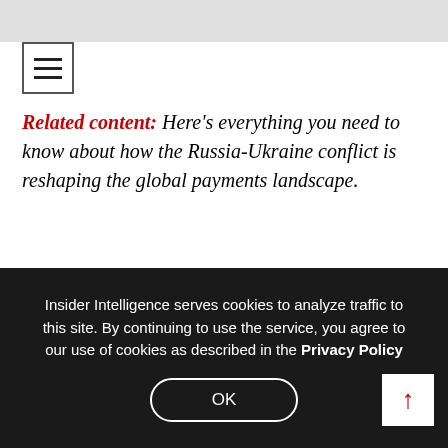[Figure (other): Top grey navigation/header bar with hamburger menu icon (three horizontal lines in a bordered box)]
Related content: Here's everything you need to know about how the Russia-Ukraine conflict is reshaping the global payments landscape.
Visa and Mastercard report Russia-Ukraine exposure as crypto exchanges buck sanctions
Payments industry reacts to Russia's invasion of Ukraine and international sanctions
What the Russia-Ukraine conflict means for payments
Insider Intelligence serves cookies to analyze traffic to this site. By continuing to use the service, you agree to our use of cookies as described in the Privacy Policy
OK